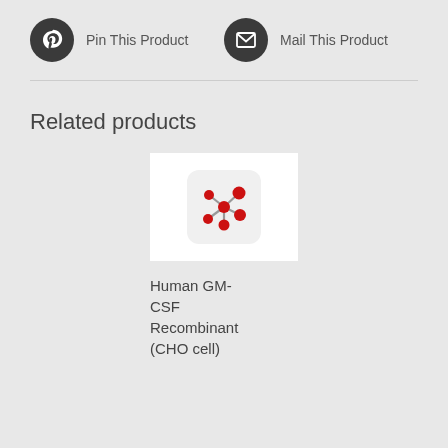Pin This Product
Mail This Product
Related products
[Figure (illustration): Product thumbnail showing a network/molecule icon with red dots connected by gray lines on a white rounded-square background]
Human GM-CSF Recombinant (CHO cell)